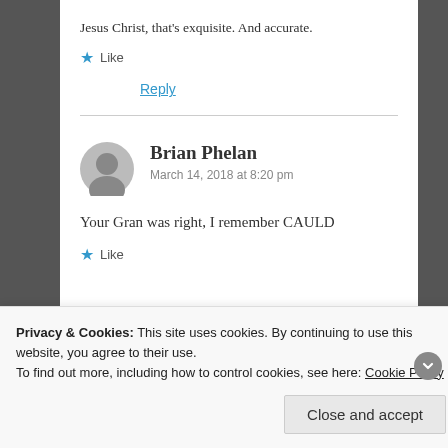Jesus Christ, that's exquisite. And accurate.
★ Like
Reply
Brian Phelan
March 14, 2018 at 8:20 pm
Your Gran was right, I remember CAULD
★ Like
Privacy & Cookies: This site uses cookies. By continuing to use this website, you agree to their use.
To find out more, including how to control cookies, see here: Cookie Policy
Close and accept